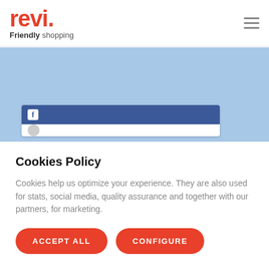revi. Friendly shopping
[Figure (screenshot): Facebook widget embedded in a light blue section, showing Facebook logo icon in dark blue header bar and partial white content area below]
Cookies Policy
Cookies help us optimize your experience. They are also used for stats, social media, quality assurance and together with our partners, for marketing.
ACCEPT ALL   CONFIGURE